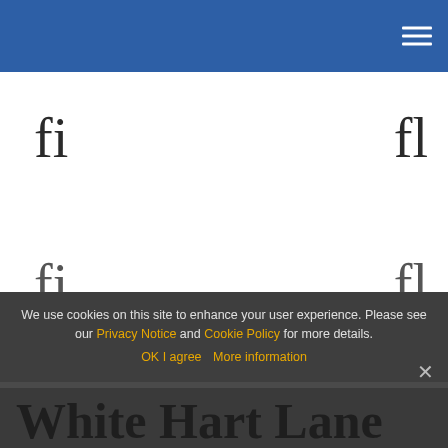[Figure (other): Decorative fi ligature typography marks in top-left and top-right corners of white content area]
[Figure (other): Decorative fi ligature typography marks in bottom-left and bottom-right corners of white/grey area]
We use cookies on this site to enhance your user experience. Please see our Privacy Notice and Cookie Policy for more details. OK I agree  More information
White Hart Lane